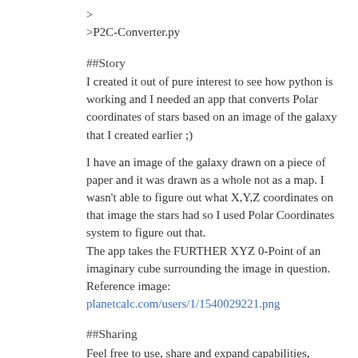&gt;
&gt;P2C-Converter.py
##Story
I created it out of pure interest to see how python is working and I needed an app that converts Polar coordinates of stars based on an image of the galaxy that I created earlier ;)
I have an image of the galaxy drawn on a piece of paper and it was drawn as a whole not as a map. I wasn't able to figure out what X,Y,Z coordinates on that image the stars had so I used Polar Coordinates system to figure out that.
The app takes the FURTHER XYZ 0-Point of an imaginary cube surrounding the image in question.
Reference image: planetcalc.com/users/1/1540029221.png
##Sharing
Feel free to use, share and expand capabilities, provide link to GitHub page if sharing &lt;3 ;)
GitHub Link: github.com/stanleyoutlander/P2C-Converter
###Science_Captain_Wanda_Sol